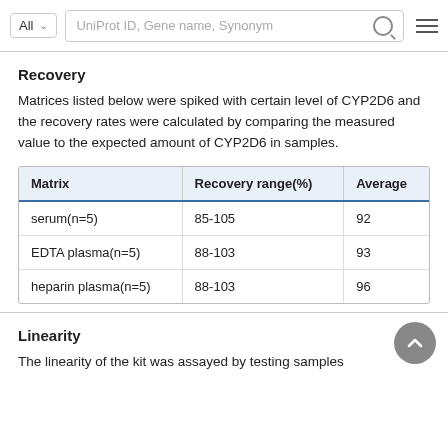All   UniProt ID, Gene name, Synonym
Recovery
Matrices listed below were spiked with certain level of CYP2D6 and the recovery rates were calculated by comparing the measured value to the expected amount of CYP2D6 in samples.
| Matrix | Recovery range(%) | Average |
| --- | --- | --- |
| serum(n=5) | 85-105 | 92 |
| EDTA plasma(n=5) | 88-103 | 93 |
| heparin plasma(n=5) | 88-103 | 96 |
Linearity
The linearity of the kit was assayed by testing samples